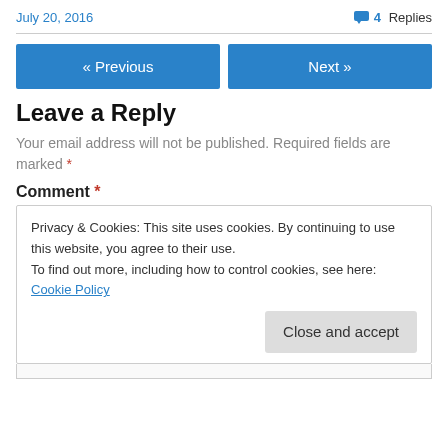July 20, 2016
4 Replies
« Previous
Next »
Leave a Reply
Your email address will not be published. Required fields are marked *
Comment *
Privacy & Cookies: This site uses cookies. By continuing to use this website, you agree to their use.
To find out more, including how to control cookies, see here: Cookie Policy
Close and accept